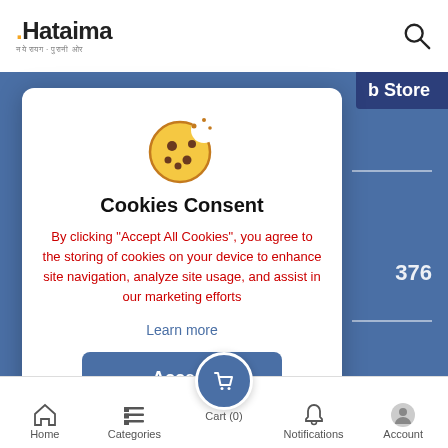[Figure (screenshot): Hataima website header with logo and search icon]
[Figure (screenshot): Cookie consent modal dialog with cookie icon, title 'Cookies Consent', red body text, 'Learn more' link, and blue 'Accept' button]
Cookies Consent
By clicking “Accept All Cookies”, you agree to the storing of cookies on your device to enhance site navigation, analyze site usage, and assist in our marketing efforts
Learn more
[Figure (screenshot): Bottom navigation bar with Home, Categories, Cart (0), Notifications, Account icons]